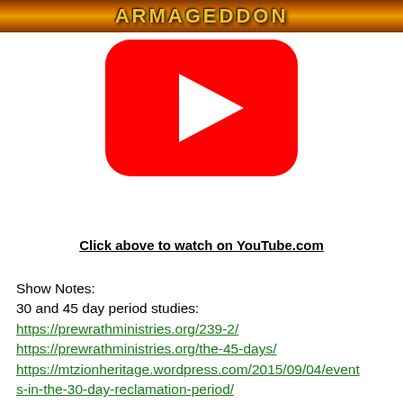[Figure (illustration): Orange/brown gradient banner with stylized text 'ARMAGEDDON' in gold letters at the top of the page]
[Figure (logo): YouTube play button logo — red rounded rectangle with white triangle play icon in center]
Click above to watch on YouTube.com
Show Notes:
30 and 45 day period studies:
https://prewrathministries.org/239-2/
https://prewrathministries.org/the-45-days/
https://mtzionheritage.wordpress.com/2015/09/04/events-in-the-30-day-reclamation-period/
https://www.solagroup.org/wp-content/uploads/parousia16.pdf

Armageddon=HarMoed
http://prewrathrapture.com/A%20Big%20Problem%20-